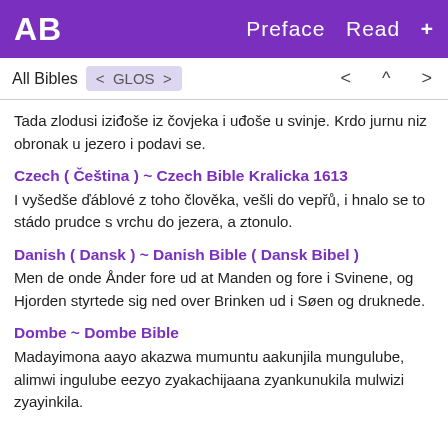AB  Preface  Read  +
All Bibles  < GLOS >  < ^ >
Tada zlodusi iziđoše iz čovjeka i uđoše u svinje. Krdo jurnu niz obronak u jezero i podavi se.
Czech ( Čeština ) ~ Czech Bible Kralicka 1613
I vyšedše ďáblové z toho člověka, vešli do vepřů, i hnalo se to stádo prudce s vrchu do jezera, a ztonulo.
Danish ( Dansk ) ~ Danish Bible ( Dansk Bibel )
Men de onde Ånder fore ud at Manden og fore i Svinene, og Hjorden styrtede sig ned over Brinken ud i Søen og druknede.
Dombe ~ Dombe Bible
Madayimona aayo akazwa mumuntu aakunjila mungulube, alimwi ingulube eezyo zyakachijaana zyankunukila mulwizi zyayinkila.